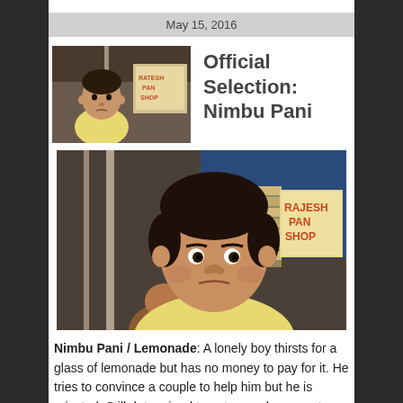May 15, 2016
Official Selection: Nimbu Pani
[Figure (photo): Small thumbnail photo of a young Indian boy in a yellow shirt standing in front of a pan shop with a sign reading 'Ratesh Pan Shop']
[Figure (photo): Larger photo of the same young Indian boy in a yellow shirt, looking serious, standing in front of 'Rajesh Pan Shop' sign in an urban street setting]
Nimbu Pani / Lemonade: A lonely boy thirsts for a glass of lemonade but has no money to pay for it. He tries to convince a couple to help him but he is rejected. Still determined to get enough money to have that glass of lemonade, the boy starts to think…